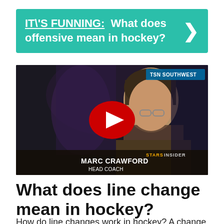IT\'S FUNNING:  What does offensive mean in hockey?
[Figure (screenshot): Video thumbnail showing Marc Crawford, Head Coach, being interviewed. YouTube play button overlay in center. TSN Southwest watermark top right. Stars Insider branding lower right.]
What does line change mean in hockey?
How do line changes work in hockey? A change is allowed to be...